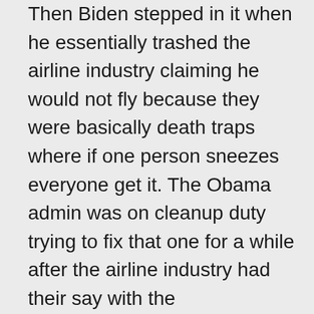Then Biden stepped in it when he essentially trashed the airline industry claiming he would not fly because they were basically death traps where if one person sneezes everyone get it. The Obama admin was on cleanup duty trying to fix that one for a while after the airline industry had their say with the administration.
Also, since H1N1 targeted younger people, such as kids, Obama never called for the shutdown of schools. He did mention they should close a particular school if they already had an outbreak, but that is a little late in